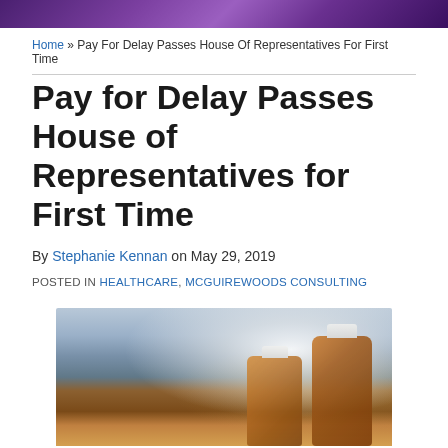Home » Pay For Delay Passes House Of Representatives For First Time
Pay for Delay Passes House of Representatives for First Time
By Stephanie Kennan on May 29, 2019
POSTED IN HEALTHCARE, MCGUIREWOODS CONSULTING
[Figure (photo): Close-up photo of amber prescription medicine bottles with white caps on a pharmacy shelf background]